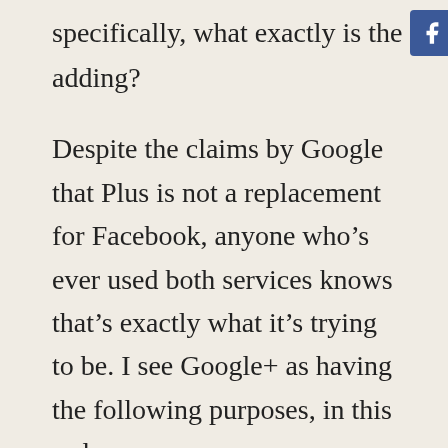specifically, what exactly is the [Facebook icon] [Twitter icon] adding?
Despite the claims by Google that Plus is not a replacement for Facebook, anyone who’s ever used both services knows that’s exactly what it’s trying to be. I see Google+ as having the following purposes, in this order:
1. Provide Google with more information